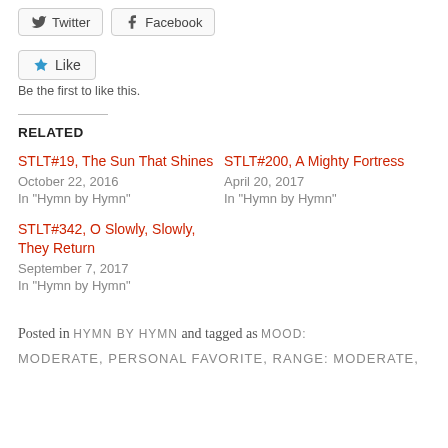[Figure (other): Social share buttons: Twitter and Facebook]
[Figure (other): Like button with star icon]
Be the first to like this.
RELATED
STLT#19, The Sun That Shines
October 22, 2016
In "Hymn by Hymn"
STLT#200, A Mighty Fortress
April 20, 2017
In "Hymn by Hymn"
STLT#342, O Slowly, Slowly, They Return
September 7, 2017
In "Hymn by Hymn"
Posted in HYMN BY HYMN and tagged as MOOD:
MODERATE, PERSONAL FAVORITE, RANGE: MODERATE,